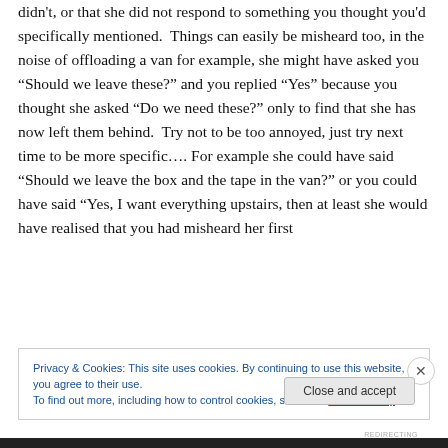didn't, or that she did not respond to something you thought you'd specifically mentioned.  Things can easily be misheard too, in the noise of offloading a van for example, she might have asked you "Should we leave these?" and you replied "Yes" because you thought she asked "Do we need these?" only to find that she has now left them behind.  Try not to be too annoyed, just try next time to be more specific…. For example she could have said "Should we leave the box and the tape in the van?" or you could have said "Yes, I want everything upstairs, then at least she would have realised that you had misheard her first
Privacy & Cookies: This site uses cookies. By continuing to use this website, you agree to their use.
To find out more, including how to control cookies, see here: Cookie Policy